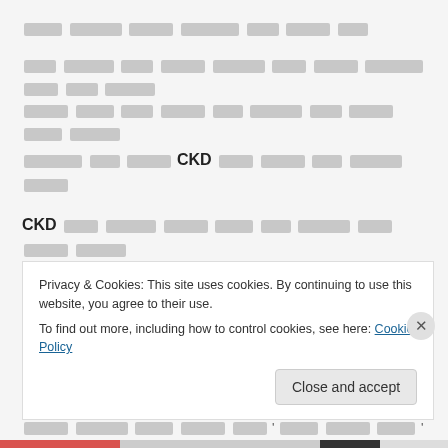[redacted paragraph 1 - short]
[redacted paragraph 2 - CKD mention]
[redacted paragraph 3 - CKD dialysis mention]
[redacted paragraph 4 - CKD]
Privacy & Cookies: This site uses cookies. By continuing to use this website, you agree to their use. To find out more, including how to control cookies, see here: Cookie Policy
Close and accept